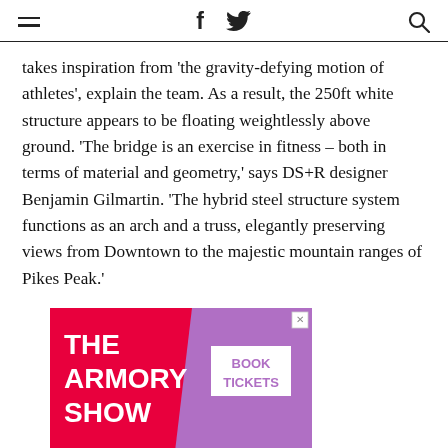≡  f  𝕿  🔍
takes inspiration from 'the gravity-defying motion of athletes', explain the team. As a result, the 250ft white structure appears to be floating weightlessly above ground. 'The bridge is an exercise in fitness – both in terms of material and geometry,' says DS+R designer Benjamin Gilmartin. 'The hybrid steel structure system functions as an arch and a truss, elegantly preserving views from Downtown to the majestic mountain ranges of Pikes Peak.'
[Figure (other): Advertisement for The Armory Show with a red and purple background. White bold text reads 'THE ARMORY SHOW' on the left. A white button on the right reads 'BOOK TICKETS' in purple text. An X close button appears in the top right corner.]